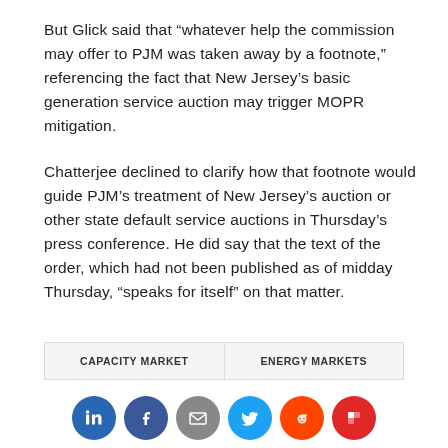But Glick said that “whatever help the commission may offer to PJM was taken away by a footnote,” referencing the fact that New Jersey’s basic generation service auction may trigger MOPR mitigation.
Chatterjee declined to clarify how that footnote would guide PJM’s treatment of New Jersey’s auction or other state default service auctions in Thursday’s press conference. He did say that the text of the order, which had not been published as of midday Thursday, “speaks for itself” on that matter.
CAPACITY MARKET  ENERGY MARKETS